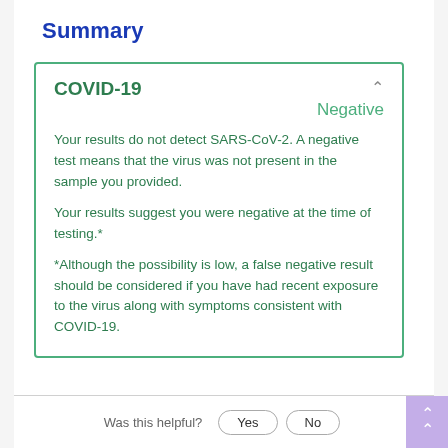Summary
COVID-19
Negative
Your results do not detect SARS-CoV-2. A negative test means that the virus was not present in the sample you provided.
Your results suggest you were negative at the time of testing.*
*Although the possibility is low, a false negative result should be considered if you have had recent exposure to the virus along with symptoms consistent with COVID-19.
Was this helpful?  Yes  No